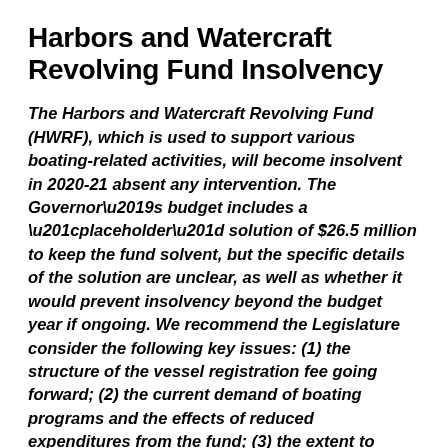Harbors and Watercraft Revolving Fund Insolvency
The Harbors and Watercraft Revolving Fund (HWRF), which is used to support various boating-related activities, will become insolvent in 2020-21 absent any intervention. The Governor's budget includes a “placeholder” solution of $26.5 million to keep the fund solvent, but the specific details of the solution are unclear, as well as whether it would prevent insolvency beyond the budget year if ongoing. We recommend the Legislature consider the following key issues: (1) the structure of the vessel registration fee going forward; (2) the current demand of boating programs and the effects of reduced expenditures from the fund; (3) the extent to which solutions should come from increased revenues, decreased